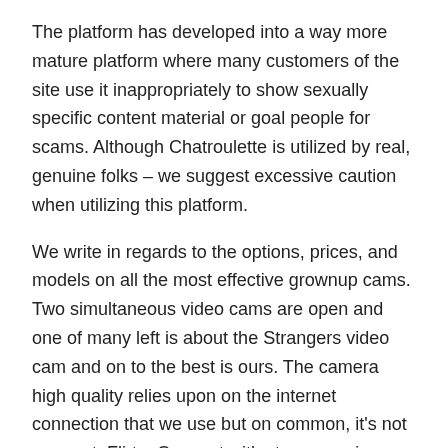The platform has developed into a way more mature platform where many customers of the site use it inappropriately to show sexually specific content material or goal people for scams. Although Chatroulette is utilized by real, genuine folks – we suggest excessive caution when utilizing this platform.
We write in regards to the options, prices, and models on all the most effective grownup cams. Two simultaneous video cams are open and one of many left is about the Strangers video cam and on to the best is ours. The camera high quality relies upon on the internet connection that we use but on common, it's not so great. Flirt – Connect with strangers via video chat or textual content and flirt with them online. So as I mentioned earlier than, Chathub shares the dynamics of an unsafe random cam platform like so many we now have reviewed up to now. The fact though is that each one random cams are dicey and a bit shady so the platform design flaws are not limited to only chathub.cam. Chathub is just 1.5-years old as a random cam platform and already the site